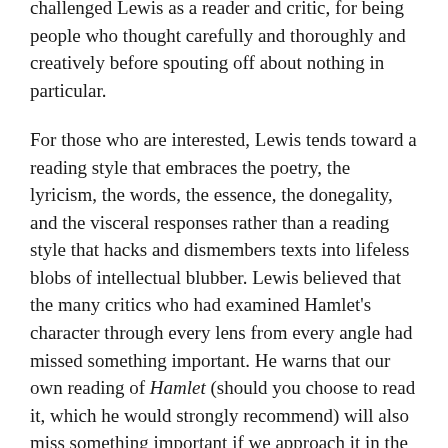challenged Lewis as a reader and critic, for being people who thought carefully and thoroughly and creatively before spouting off about nothing in particular.
For those who are interested, Lewis tends toward a reading style that embraces the poetry, the lyricism, the words, the essence, the donegality, and the visceral responses rather than a reading style that hacks and dismembers texts into lifeless blobs of intellectual blubber. Lewis believed that the many critics who had examined Hamlet's character through every lens from every angle had missed something important. He warns that our own reading of Hamlet (should you choose to read it, which he would strongly recommend) will also miss something important if we approach it in the same clinically sterile way.